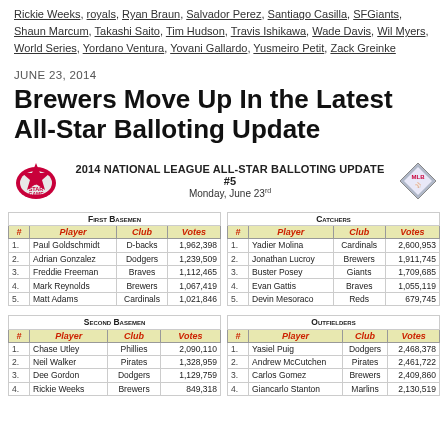Rickie Weeks, royals, Ryan Braun, Salvador Perez, Santiago Casilla, SFGiants, Shaun Marcum, Takashi Saito, Tim Hudson, Travis Ishikawa, Wade Davis, Wil Myers, World Series, Yordano Ventura, Yovani Gallardo, Yusmeiro Petit, Zack Greinke
JUNE 23, 2014
Brewers Move Up In the Latest All-Star Balloting Update
[Figure (infographic): 2014 National League All-Star Balloting Update #5, Monday June 23rd. Tables for First Basemen, Catchers, Second Basemen, Outfielders with player rankings, clubs, and votes.]
| # | Player | Club | Votes |
| --- | --- | --- | --- |
| 1. | Paul Goldschmidt | D-backs | 1,962,398 |
| 2. | Adrian Gonzalez | Dodgers | 1,239,509 |
| 3. | Freddie Freeman | Braves | 1,112,465 |
| 4. | Mark Reynolds | Brewers | 1,067,419 |
| 5. | Matt Adams | Cardinals | 1,021,846 |
| # | Player | Club | Votes |
| --- | --- | --- | --- |
| 1. | Yadier Molina | Cardinals | 2,600,953 |
| 2. | Jonathan Lucroy | Brewers | 1,911,745 |
| 3. | Buster Posey | Giants | 1,709,685 |
| 4. | Evan Gattis | Braves | 1,055,119 |
| 5. | Devin Mesoraco | Reds | 679,745 |
| # | Player | Club | Votes |
| --- | --- | --- | --- |
| 1. | Chase Utley | Phillies | 2,090,110 |
| 2. | Neil Walker | Pirates | 1,328,959 |
| 3. | Dee Gordon | Dodgers | 1,129,759 |
| 4. | Rickie Weeks | Brewers | 849,318 |
| # | Player | Club | Votes |
| --- | --- | --- | --- |
| 1. | Yasiel Puig | Dodgers | 2,468,378 |
| 2. | Andrew McCutchen | Pirates | 2,461,722 |
| 3. | Carlos Gomez | Brewers | 2,409,860 |
| 4. | Giancarlo Stanton | Marlins | 2,130,519 |